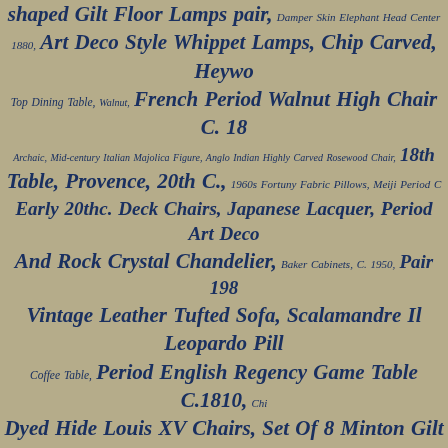shaped Gilt Floor Lamps pair, Damper Skin Elephant Head Center 1880, Art Deco Style Whippet Lamps, Chip Carved, Heywo Top Dining Table, Walnut, French Period Walnut High Chair C. 18 Archaic, Mid-century Italian Majolica Figure, Anglo Indian Highly Carved Rosewood Chair, 18th Table, Provence, 20th C., 1960s Fortuny Fabric Pillows, Meiji Period C Early 20thc. Deck Chairs, Japanese Lacquer, Period Art Deco And Rock Crystal Chandelier, Baker Cabinets, C. 1950, Pair 198 Vintage Leather Tufted Sofa, Scalamandre Il Leopardo Pill Coffee Table, Period English Regency Game Table C.1810, Chi Dyed Hide Louis XV Chairs, Set Of 8 Minton Gilt Bouillon Cu 1760, Period Louis XVI Walnut Secretaire A Abattant C. 1780, Edo Period J Chairs, Vintage Fortuny Fabric, Large Italian Glazed Terra Cotta Urn Or Pair Chinese Lacquered Boxes, Period Regency Mahogan Bronze Lion And Lucite Lamp, Mid-century Lamp, Chinese Expo Long Carved Chinese Antique Altar Table, Antique Red Fren Condition, Art Deco Chandelier, Fern Stand, 20th C. Gilt Bronze Sconces, Fi Italian Renaissance Revival Console, Swedish Rococo 19th Bronze, Alabaster Tang-style Horse, 19th C. Small Walnut Desk, Ear Bronze Tortoises-meiji Period, Moroccan Or Damascus Inlai Venetian Crystal Cobalt & Clear Stemware, Eglomise., Tony Duquette, C Alabaster Fruit, Early 19th C. English Library Steps, Limestone Lions, Mi Cart, Antique Black/blue French Ticking Pillows, Dutch Bar Colored Stone Brooch, Charcoal Drawing Of Nude,